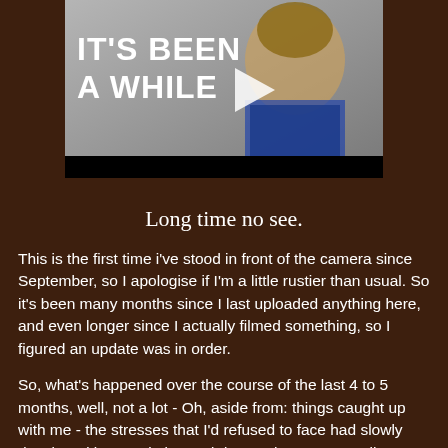[Figure (screenshot): A video thumbnail showing a man with long dreadlocks and glasses wearing a blue plaid shirt, with text overlay reading 'IT'S BEEN A WHILE' and a play button in the center.]
Long time no see.
This is the first time i've stood in front of the camera since September, so I apologise if I'm a little rustier than usual. So it's been many months since I last uploaded anything here, and even longer since I actually filmed something, so I figured an update was in order.
So, what's happened over the course of the last 4 to 5 months, well, not a lot - Oh, aside from: things caught up with me - the stresses that I'd refused to face had slowly developed into anxieties and depression… eventually I got